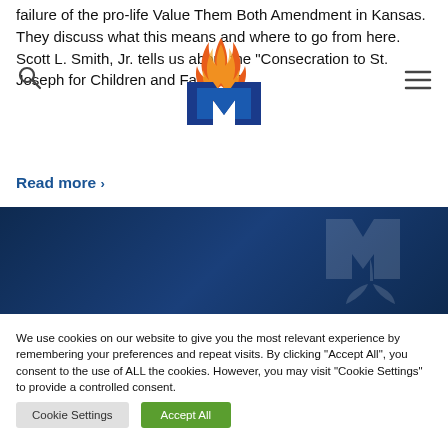failure of the pro-life Value Them Both Amendment in Kansas. They discuss what this means and where to go from here. Scott L. Smith, Jr. tells us about the "Consecration to St. Joseph for Children and Families"
[Figure (logo): MVC logo with flame and stylized M shape in blue and orange]
Read more >
[Figure (photo): Dark navy blue banner with watermark logo of stylized plant/leaf on the right side]
We use cookies on our website to give you the most relevant experience by remembering your preferences and repeat visits. By clicking "Accept All", you consent to the use of ALL the cookies. However, you may visit "Cookie Settings" to provide a controlled consent.
Cookie Settings
Accept All